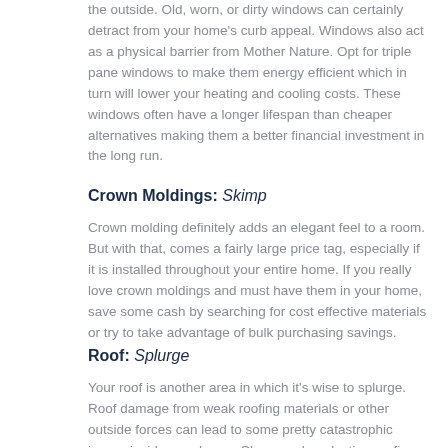the outside. Old, worn, or dirty windows can certainly detract from your home's curb appeal. Windows also act as a physical barrier from Mother Nature. Opt for triple pane windows to make them energy efficient which in turn will lower your heating and cooling costs. These windows often have a longer lifespan than cheaper alternatives making them a better financial investment in the long run.
Crown Moldings: Skimp
Crown molding definitely adds an elegant feel to a room. But with that, comes a fairly large price tag, especially if it is installed throughout your entire home. If you really love crown moldings and must have them in your home, save some cash by searching for cost effective materials or try to take advantage of bulk purchasing savings.
Roof: Splurge
Your roof is another area in which it's wise to splurge. Roof damage from weak roofing materials or other outside forces can lead to some pretty catastrophic issues inside your home. Choose a long lasting roofing material and be sure to check with your contractor on the efficiency...